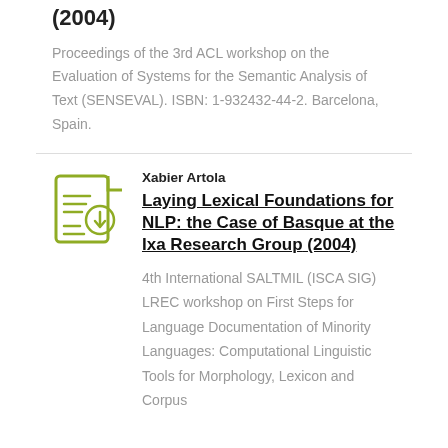(2004)
Proceedings of the 3rd ACL workshop on the Evaluation of Systems for the Semantic Analysis of Text (SENSEVAL). ISBN: 1-932432-44-2. Barcelona, Spain.
Xabier Artola
Laying Lexical Foundations for NLP: the Case of Basque at the Ixa Research Group (2004)
4th International SALTMIL (ISCA SIG) LREC workshop on First Steps for Language Documentation of Minority Languages: Computational Linguistic Tools for Morphology, Lexicon and Corpus